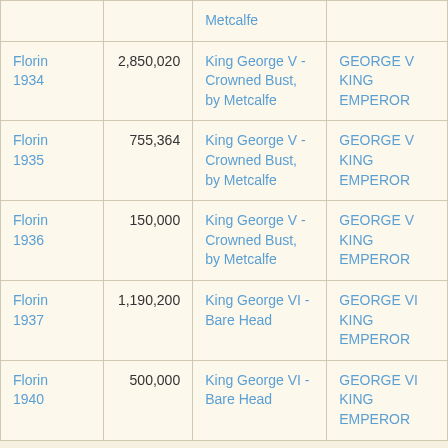| Coin/Year | Mintage | Obverse | Legend |
| --- | --- | --- | --- |
| Florin 1934 | 2,850,020 | King George V - Crowned Bust, by Metcalfe | GEORGE V KING EMPEROR |
| Florin 1935 | 755,364 | King George V - Crowned Bust, by Metcalfe | GEORGE V KING EMPEROR |
| Florin 1936 | 150,000 | King George V - Crowned Bust, by Metcalfe | GEORGE V KING EMPEROR |
| Florin 1937 | 1,190,200 | King George VI - Bare Head | GEORGE VI KING EMPEROR |
| Florin 1940 | 500,000 | King George VI - Bare Head | GEORGE VI KING EMPEROR |